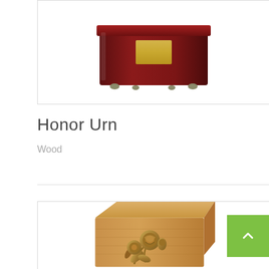[Figure (photo): Top portion of a dark mahogany wood honor urn with brass hardware on a white background, shown partially at the top of the page]
Honor Urn
Wood
[Figure (photo): A light oak wood cremation urn with a bronze rose floral emblem on the front, shown in a white-bordered product image box]